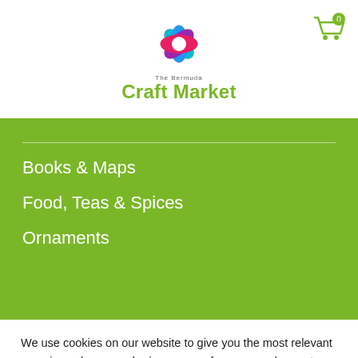[Figure (logo): The Bermuda Craft Market logo with colorful flower and green text]
[Figure (illustration): Shopping cart icon with badge showing 0]
Books & Maps
Food, Teas & Spices
Ornaments
We use cookies on our website to give you the most relevant experience by remembering your preferences and repeat visits. By clicking "Accept All", you consent to the use of ALL the cookies. However, you may visit "Cookie Settings" to provide a controlled consent.
Cookie Settings | Accept All